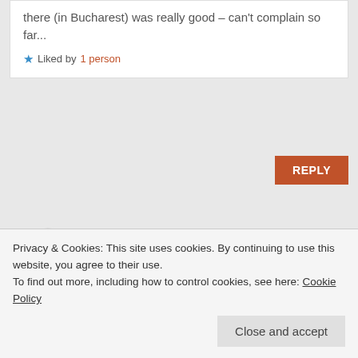there (in Bucharest) was really good – can't complain so far...
Liked by 1 person
REPLY
Cher
JUNE 30, 2016 AT 8:31 PM
Hi there, please can you delete my comment in this thread containing my
Privacy & Cookies: This site uses cookies. By continuing to use this website, you agree to their use.
To find out more, including how to control cookies, see here: Cookie Policy
Close and accept